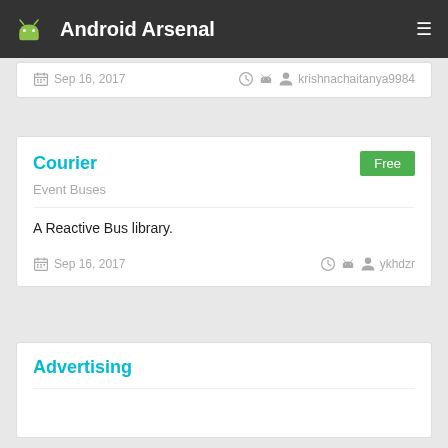Android Arsenal
Sep 16, 2017  krishnachaitanya9984
Courier
Free
Event Buses
A Reactive Bus library.
Sep 16, 2017  ykhdzr
Advertising